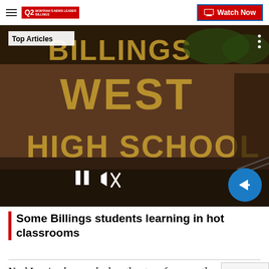Q2 MONTANA'S NEWS LEADER BILLINGS | Watch Now
[Figure (photo): Billings West High School sign/building photo with video player controls overlay, showing 'Top Articles' badge, pause button, mute icon, and next arrow button]
Top Articles
Some Billings students learning in hot classrooms
Neal Lewing has worked on the story for more than a decade after reading P book, and referred to him while his Irish folk group was playing in Fort Benton years ago.